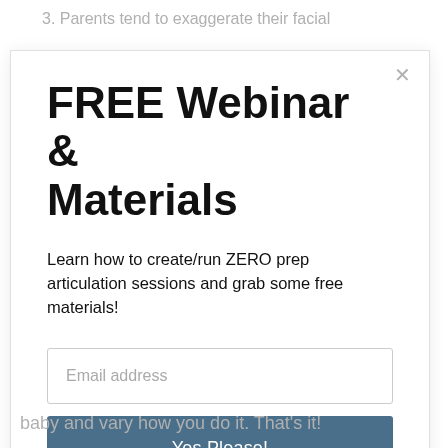3. Parents tend to exaggerate their facial
FREE Webinar & Materials
Learn how to create/run ZERO prep articulation sessions and grab some free materials!
Email address
Yes Please!
baby and vary how you do it. That's it!